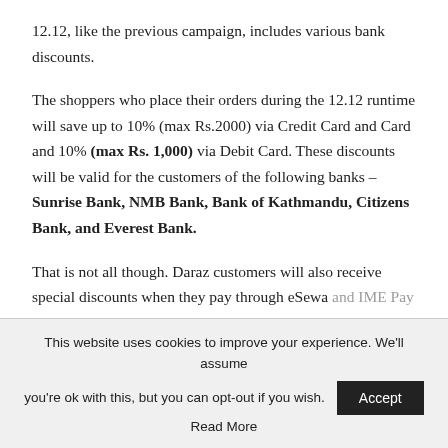12.12, like the previous campaign, includes various bank discounts.
The shoppers who place their orders during the 12.12 runtime will save up to 10% (max Rs.2000) via Credit Card and Card and 10% (max Rs. 1,000) via Debit Card. These discounts will be valid for the customers of the following banks – Sunrise Bank, NMB Bank, Bank of Kathmandu, Citizens Bank, and Everest Bank.
That is not all though. Daraz customers will also receive special discounts when they pay through eSewa and IME Pay wallet during the campaign...
This website uses cookies to improve your experience. We'll assume you're ok with this, but you can opt-out if you wish. [Accept] Read More